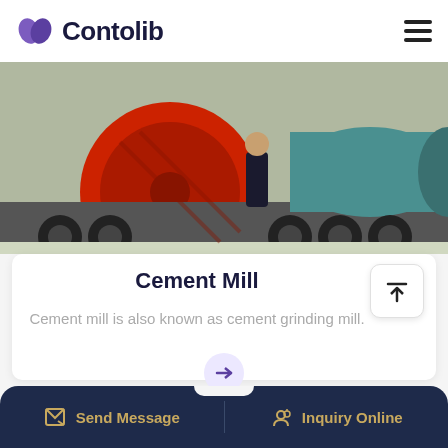Contolib
[Figure (photo): Industrial scene showing large cement mill equipment on a heavy transport truck with a person standing nearby]
Cement Mill
Cement mill is also known as cement grinding mill.
Send Message | Inquiry Online